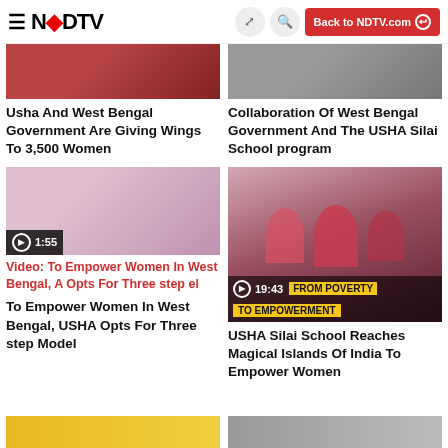NDTV — Back to NDTV.com
[Figure (screenshot): Partial top images of two news articles (cropped at top)]
Usha And West Bengal Government Are Giving Wings To 3,500 Women
Collaboration Of West Bengal Government And The USHA Silai School program
[Figure (screenshot): Video thumbnail: To Empower Women In West Bengal, USHA Opts For Three step Model, duration 1:55]
Video: To Empower Women In West Bengal, USHA Opts For Three step Model
To Empower Women In West Bengal, USHA Opts For Three step Model
[Figure (screenshot): Video thumbnail: From Poverty To Empowerment, duration 19:43, showing women at sewing machines]
USHA Silai School Reaches Magical Islands Of India To Empower Women
[Figure (screenshot): Bottom strip images (partially visible)]